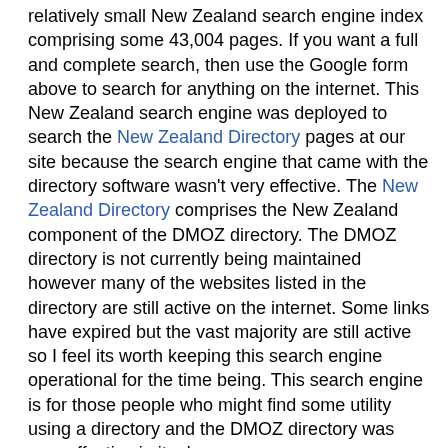relatively small New Zealand search engine index comprising some 43,004 pages. If you want a full and complete search, then use the Google form above to search for anything on the internet. This New Zealand search engine was deployed to search the New Zealand Directory pages at our site because the search engine that came with the directory software wasn't very effective. The New Zealand Directory comprises the New Zealand component of the DMOZ directory. The DMOZ directory is not currently being maintained however many of the websites listed in the directory are still active on the internet. Some links have expired but the vast majority are still active so I feel its worth keeping this search engine operational for the time being. This search engine is for those people who might find some utility using a directory and the DMOZ directory was very effective in its day.
Search Results
Your search for motorcycle found the following documents (of 43004 documents searched):
Displaying documents 41-60 of 313, with best matches first: